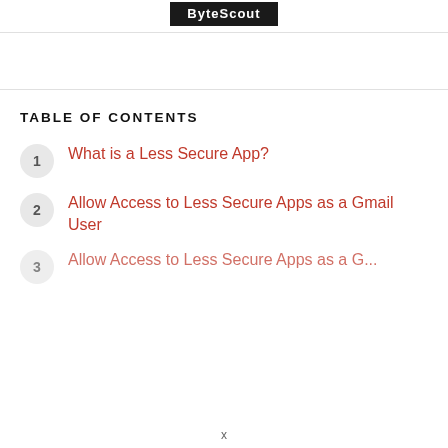ByteScout
TABLE OF CONTENTS
1 What is a Less Secure App?
2 Allow Access to Less Secure Apps as a Gmail User
3 Allow Access to Less Secure Apps as a G...
x